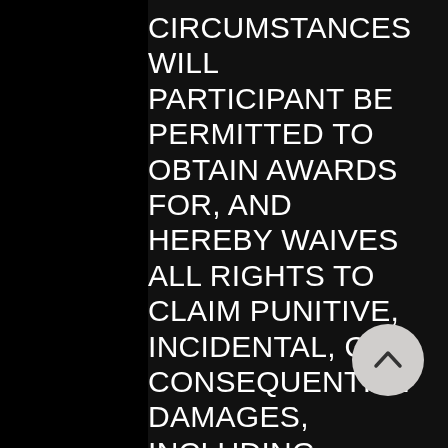CIRCUMSTANCES WILL PARTICIPANT BE PERMITTED TO OBTAIN AWARDS FOR, AND HEREBY WAIVES ALL RIGHTS TO CLAIM PUNITIVE, INCIDENTAL, OR CONSEQUENTIAL DAMAGES, INCLUDING REASONABLE ATTORNEYS' FEES, OTHER THAN PARTICIPANT'S ACTUAL OUT-OF-POCKET EXPENSES (I.E. COSTS ASSOCIATED WITH ENTERING THIS SWEEPSTAKES), AND